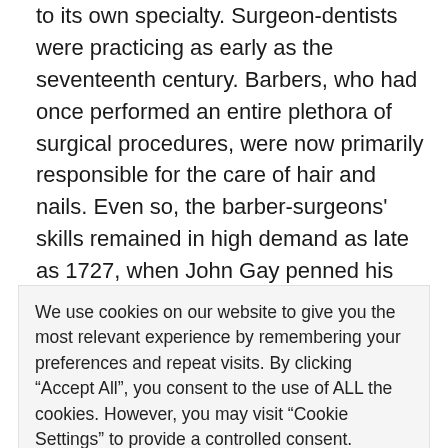to its own specialty. Surgeon-dentists were practicing as early as the seventeenth century. Barbers, who had once performed an entire plethora of surgical procedures, were now primarily responsible for the care of hair and nails. Even so, the barber-surgeons' skills remained in high demand as late as 1727, when John Gay penned his poem.9
The differences and cross-pollinations between the practices of surgeons and barber-surgeons play out across early modern literature and tell us about their
We use cookies on our website to give you the most relevant experience by remembering your preferences and repeat visits. By clicking “Accept All”, you consent to the use of ALL the cookies. However, you may visit "Cookie Settings" to provide a controlled consent.
[cookie_settings margin="0px 5px 0px 0px"]
[cookie_accept_all]